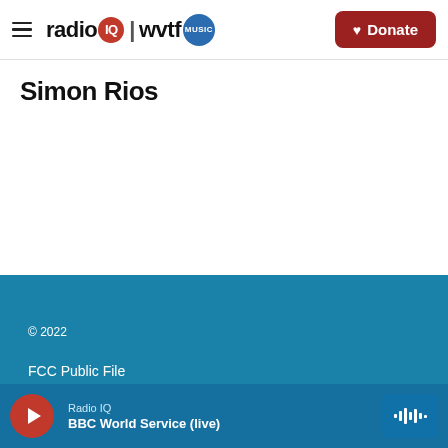radio IQ | wvtf MUSIC — Donate
Simon Rios
© 2022
FCC Public File
Radio IQ
BBC World Service (live)